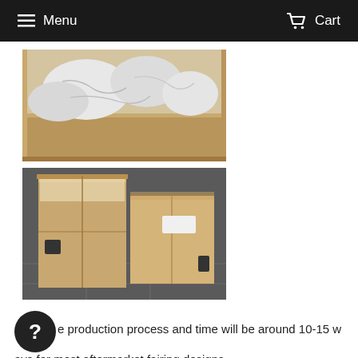Menu  Cart
[Figure (photo): Open cardboard box with white plastic-wrapped fairing parts visible inside, packed with protective wrapping]
[Figure (photo): Two large sealed cardboard boxes sitting on a tiled floor, containing fairing kit shipment]
The production process and time will be around 10-15 working days for most aftermarket fairing designs.
Fiberglass race fairing kit and Race style fairing kit will need